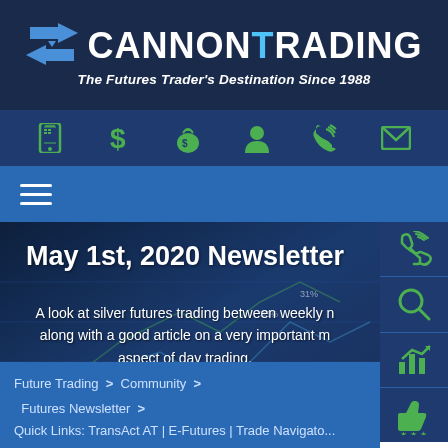[Figure (logo): Cannon Trading logo with arrow icon, white text on dark navy background, tagline 'The Futures Trader's Destination Since 1988']
[Figure (infographic): Icon navigation bar with green icons: mobile phone, dollar sign, money bag, person, phone, envelope on dark blue background]
[Figure (infographic): Blue menu bar with white hamburger menu icon]
May 1st, 2020 Newsletter
A look at silver futures trading between weekly n along with a good article on a very important m aspect of day trading.
[Figure (infographic): Right sidebar with green icons: phone, magnifying glass, chart with arrow up, thumbs up with stars]
Future Trading > Community > Futures Newsletter >
Quick Links: TransAct AT | E-Futures | Trade Navigato...